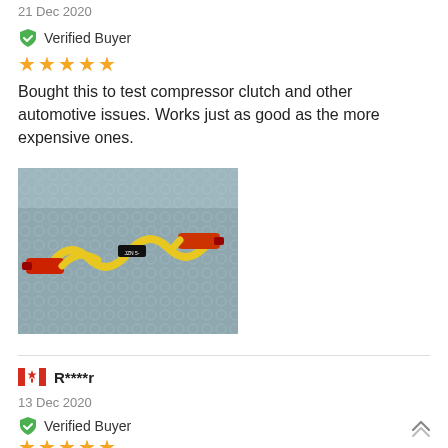21 Dec 2020
Verified Buyer
★★★★★
Bought this to test compressor clutch and other automotive issues. Works just as good as the more expensive ones.
[Figure (photo): Photo of electrical test leads (alligator clips in red and yellow) wrapped in bubble wrap packaging]
R****r
13 Dec 2020
Verified Buyer
★★★★★